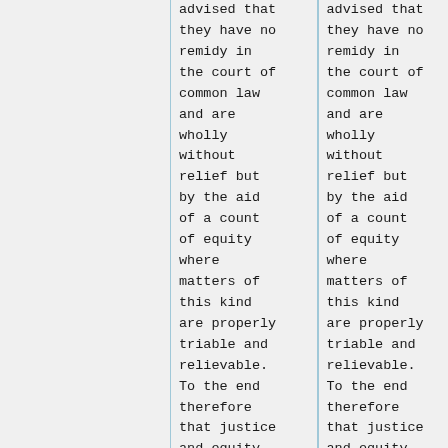advised that they have no remidy in the court of common law and are wholly without relief but by the aid of a count of equity where matters of this kind are properly triable and relievable. To the end therefore that justice and equity
advised that they have no remidy in the court of common law and are wholly without relief but by the aid of a count of equity where matters of this kind are properly triable and relievable. To the end therefore that justice and equity